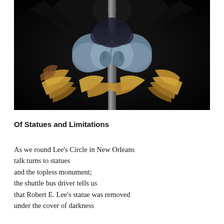[Figure (photo): Close-up photograph of a fantasy or decorative sculpture featuring dark figures at the top, a central column/staff with segmented armor, blue-grey muscular forms gripping it, and golden/brown leaf or flower-like decorative elements at the base, set against a dark background.]
Of Statues and Limitations
As we round Lee's Circle in New Orleans
talk turns to statues
and the topless monument;
the shuttle bus driver tells us
that Robert E. Lee's statue was removed
under the cover of darkness